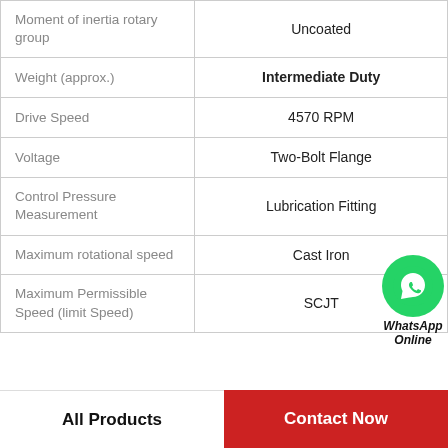| Property | Value |
| --- | --- |
| Moment of inertia rotary group | Uncoated |
| Weight (approx.) | Intermediate Duty |
| Drive Speed | 4570 RPM |
| Voltage | Two-Bolt Flange |
| Control Pressure Measurement | Lubrication Fitting |
| Maximum rotational speed | Cast Iron |
| Maximum Permissible Speed (limit Speed) | SCJT |
[Figure (illustration): WhatsApp Online contact button with green phone icon circle and text 'WhatsApp Online']
All Products    Contact Now